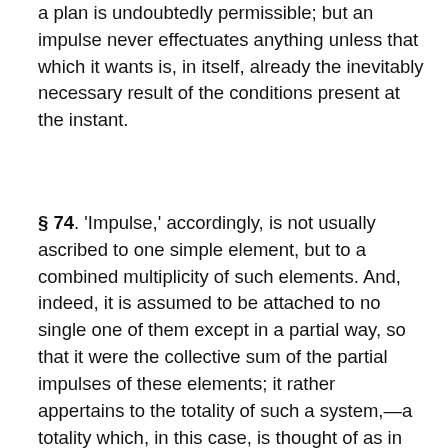a plan is undoubtedly permissible; but an impulse never effectuates anything unless that which it wants is, in itself, already the inevitably necessary result of the conditions present at the instant.
§ 74. 'Impulse,' accordingly, is not usually ascribed to one simple element, but to a combined multiplicity of such elements. And, indeed, it is assumed to be attached to no single one of them except in a partial way, so that it were the collective sum of the partial impulses of these elements; it rather appertains to the totality of such a system,—a totality which, in this case, is thought of as in opposition to all the parts of which it consists. According to Aristotle, the Whole is previous to the parts, and produces,—not, of course, the real substratum of which they consist, but that specific form in them by means of which they are parts of this whole. To express the same thing in more modern fashion; the Idea of the whole is previous to the